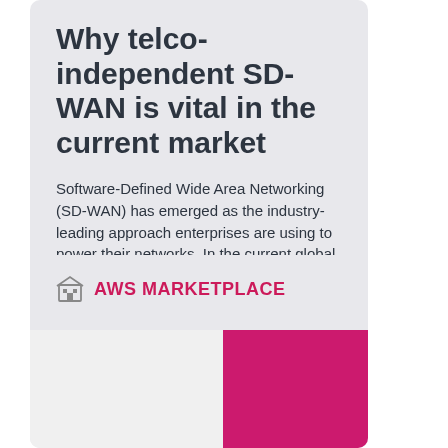Why telco-independent SD-WAN is vital in the current market
Software-Defined Wide Area Networking (SD-WAN) has emerged as the industry-leading approach enterprises are using to power their networks. In the current global climate, why is telco-independent SD-WAN the way forward?
AWS MARKETPLACE
Learn how security orchestration, automation, and response (SOAR) enhances your security strategy.
[Figure (other): Bottom image strip with a magenta/pink color block on the right side]